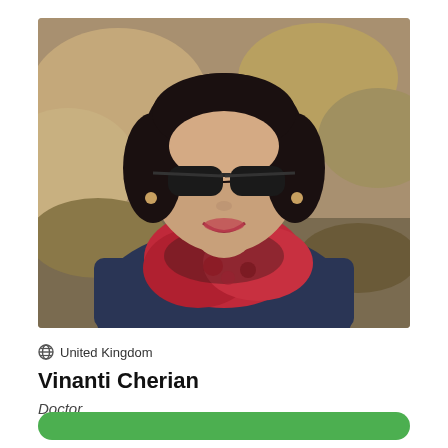[Figure (photo): Portrait photo of a woman with short black hair, wearing dark sunglasses, a red and black patterned scarf, and a dark blue textured jacket. She is smiling, outdoors with a natural/rocky background.]
United Kingdom
Vinanti Cherian
Doctor